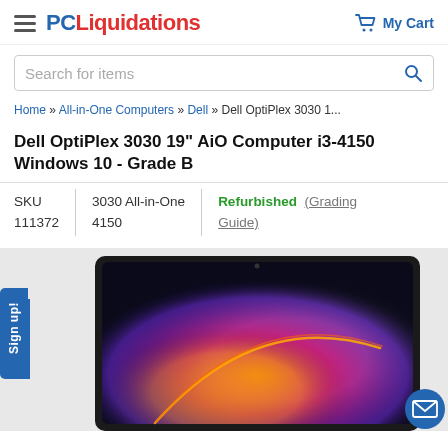PCLiquidations  My Cart
Search for items
Home » All-in-One Computers » Dell » Dell OptiPlex 3030 1...
Dell OptiPlex 3030 19" AiO Computer i3-4150 Windows 10 - Grade B
| SKU | 3030 All-in-One | Refurbished  (Grading Guide) |
| 111372 | 4150 |  |
[Figure (photo): Dell OptiPlex 3030 All-in-One computer monitor showing a colorful galaxy/nebula wallpaper on screen, with a Sign up! tab on the left and a mail icon button on the bottom right.]